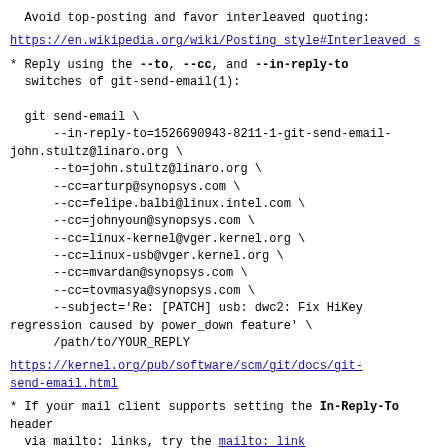Avoid top-posting and favor interleaved quoting:
https://en.wikipedia.org/wiki/Posting_style#Interleaved_s
* Reply using the --to, --cc, and --in-reply-to
  switches of git-send-email(1):

  git send-email \
      --in-reply-to=1526690943-8211-1-git-send-email-
john.stultz@linaro.org \
      --to=john.stultz@linaro.org \
      --cc=arturp@synopsys.com \
      --cc=felipe.balbi@linux.intel.com \
      --cc=johnyoun@synopsys.com \
      --cc=linux-kernel@vger.kernel.org \
      --cc=linux-usb@vger.kernel.org \
      --cc=mvardan@synopsys.com \
      --cc=tovmasya@synopsys.com \
      --subject='Re: [PATCH] usb: dwc2: Fix HiKey
regression caused by power_down feature' \
      /path/to/YOUR_REPLY
https://kernel.org/pub/software/scm/git/docs/git-send-email.html
* If your mail client supports setting the In-Reply-To header
  via mailto: links, try the mailto: link